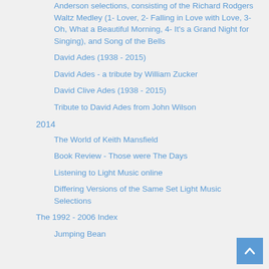Anderson selections, consisting of the Richard Rodgers Waltz Medley (1- Lover, 2- Falling in Love with Love, 3- Oh, What a Beautiful Morning, 4- It's a Grand Night for Singing), and Song of the Bells
David Ades (1938 - 2015)
David Ades - a tribute by William Zucker
David Clive Ades (1938 - 2015)
Tribute to David Ades from John Wilson
2014
The World of Keith Mansfield
Book Review - Those were The Days
Listening to Light Music online
Differing Versions of the Same Set Light Music Selections
The 1992 - 2006 Index
Jumping Bean